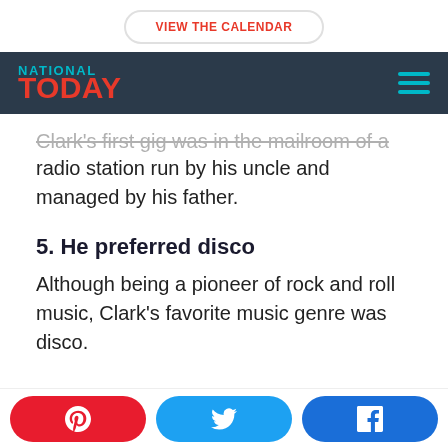VIEW THE CALENDAR
[Figure (logo): National Today logo with navigation hamburger menu on dark navy background]
Clark's first gig was in the mailroom of a radio station run by his uncle and managed by his father.
5. He preferred disco
Although being a pioneer of rock and roll music, Clark's favorite music genre was disco.
Pinterest | Twitter | Facebook social share buttons